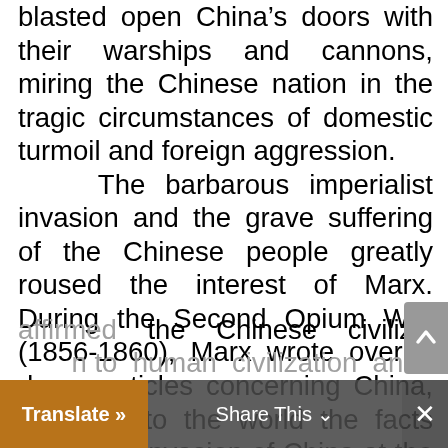blasted open China's doors with their warships and cannons, miring the Chinese nation in the tragic circumstances of domestic turmoil and foreign aggression. The barbarous imperialist invasion and the grave suffering of the Chinese people greatly roused the interest of Marx. During the Second Opium War (1856-1860), Marx wrote over a dozen articles concerning China, exposing to the world the facts about the invasion of China at the hands of Western powers, and serving as a champion of justice for the Chinese people. To a high degree, Marx and Engels affirmed the Chinese civilization's contribution to human civilization and